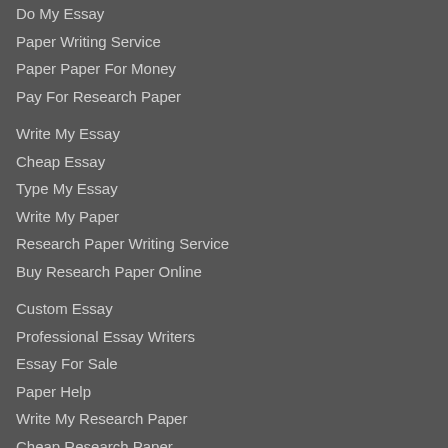Do My Essay
Paper Writing Service
Paper Paper For Money
Pay For Research Paper
Write My Essay
Cheap Essay
Type My Essay
Write My Paper
Research Paper Writing Service
Buy Research Paper Online
Custom Essay
Professional Essay Writers
Essay For Sale
Paper Help
Write My Research Paper
Cheap Research Paper
Pay For Essay